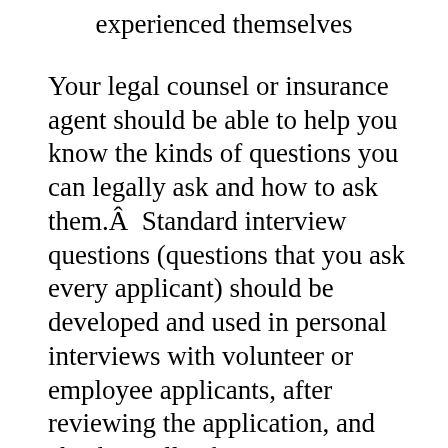experienced themselves
Your legal counsel or insurance agent should be able to help you know the kinds of questions you can legally ask and how to ask them.Â  Standard interview questions (questions that you ask every applicant) should be developed and used in personal interviews with volunteer or employee applicants, after reviewing the application, and checking all references.
This paperwork is your proof or evidence that you have implemented the security